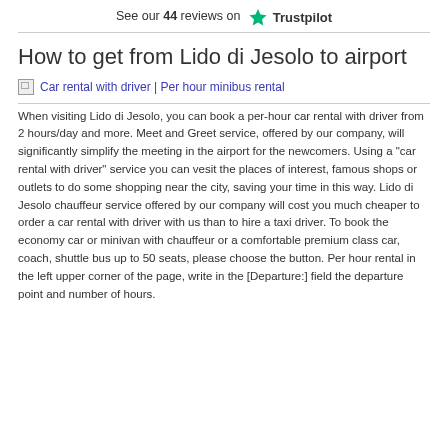See our 44 reviews on Trustpilot
How to get from Lido di Jesolo to airport
Car rental with driver | Per hour minibus rental
When visiting Lido di Jesolo, you can book a per-hour car rental with driver from 2 hours/day and more. Meet and Greet service, offered by our company, will significantly simplify the meeting in the airport for the newcomers. Using a "car rental with driver" service you can vesit the places of interest, famous shops or outlets to do some shopping near the city, saving your time in this way. Lido di Jesolo chauffeur service offered by our company will cost you much cheaper to order a car rental with driver with us than to hire a taxi driver. To book the economy car or minivan with chauffeur or a comfortable premium class car, coach, shuttle bus up to 50 seats, please choose the button. Per hour rental in the left upper corner of the page, write in the [Departure:] field the departure point and number of hours.